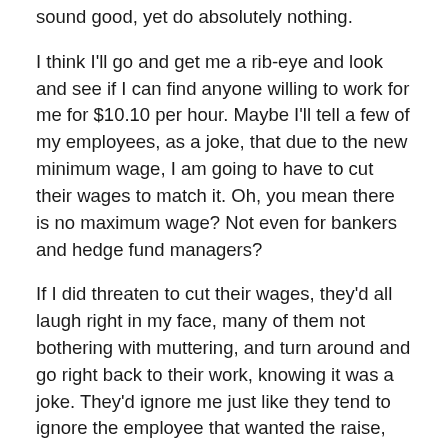sound good, yet do absolutely nothing.
I think I'll go and get me a rib-eye and look and see if I can find anyone willing to work for me for $10.10 per hour. Maybe I'll tell a few of my employees, as a joke, that due to the new minimum wage, I am going to have to cut their wages to match it. Oh, you mean there is no maximum wage? Not even for bankers and hedge fund managers?
If I did threaten to cut their wages, they'd all laugh right in my face, many of them not bothering with muttering, and turn around and go right back to their work, knowing it was a joke. They'd ignore me just like they tend to ignore the employee that wanted the raise, since it is usually easier to just do for themselves what he should be doing rather than repeatedly explaining to him all over again just which end of the shovel he is supposed to use and why they